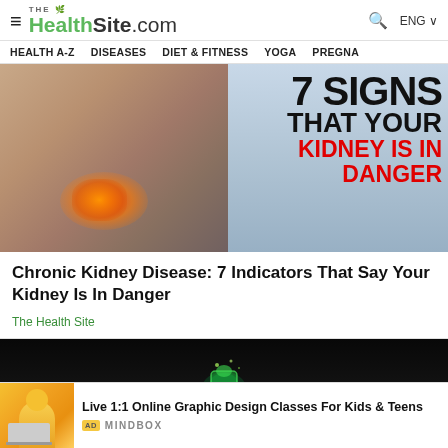THE HealthSite.com | ENG
HEALTH A-Z  DISEASES  DIET & FITNESS  YOGA  PREGNA...
[Figure (photo): Person holding their back with kidneys highlighted in red/orange glow. Text overlay reads: 7 SIGNS THAT YOUR KIDNEY IS IN DANGER]
Chronic Kidney Disease: 7 Indicators That Say Your Kidney Is In Danger
The Health Site
[Figure (photo): Dark background image with green glowing hand/object]
Live 1:1 Online Graphic Design Classes For Kids & Teens
AD MINDBOX